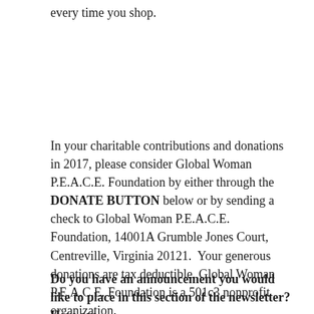every time you shop.
In your charitable contributions and donations in 2017, please consider Global Woman P.E.A.C.E. Foundation by either through the DONATE BUTTON below or by sending a check to Global Woman P.E.A.C.E. Foundation, 14001A Grumble Jones Court, Centreville, Virginia 20121.  Your generous donations are tax deductible. Global Woman P.E.A.C.E. Foundation is a 501c3 nonprofit organization.
Do you have an announcement you would like to place in this section of the newsletter? Here are